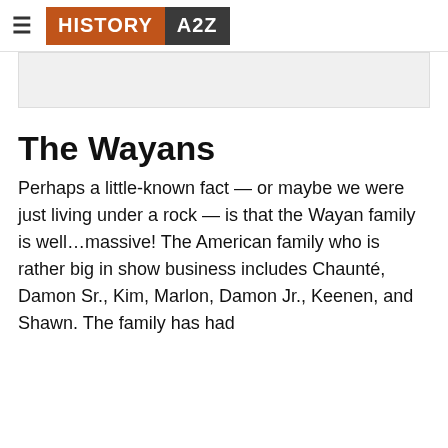≡ HISTORY A2Z
[Figure (other): Gray ad banner placeholder]
The Wayans
Perhaps a little-known fact — or maybe we were just living under a rock — is that the Wayan family is well…massive! The American family who is rather big in show business includes Chaunté, Damon Sr., Kim, Marlon, Damon Jr., Keenen, and Shawn. The family has had